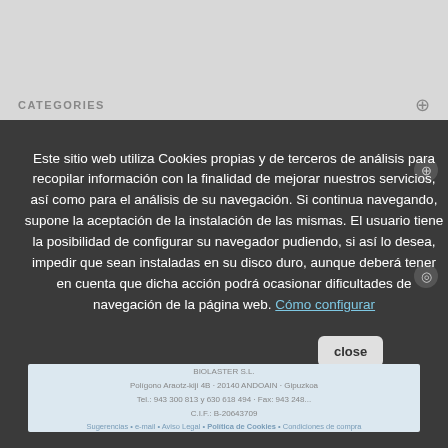CATEGORIES
Este sitio web utiliza Cookies propias y de terceros de análisis para recopilar información con la finalidad de mejorar nuestros servicios, así como para el análisis de su navegación. Si continua navegando, supone la aceptación de la instalación de las mismas. El usuario tiene la posibilidad de configurar su navegador pudiendo, si así lo desea, impedir que sean instaladas en su disco duro, aunque deberá tener en cuenta que dicha acción podrá ocasionar dificultades de navegación de la página web. Cómo configurar
BIOLASTER S.L. Polígono Araotz-kiji 4B - 20140 ANDOAIN - Gipuzkoa Tel.: 943 300 813 y 630 618 494 - Fax: 943 248... C.I.F.: B-20643709 Sugerencias • e-mail • Aviso Legal • Politica de Cookies • Condiciones de compra